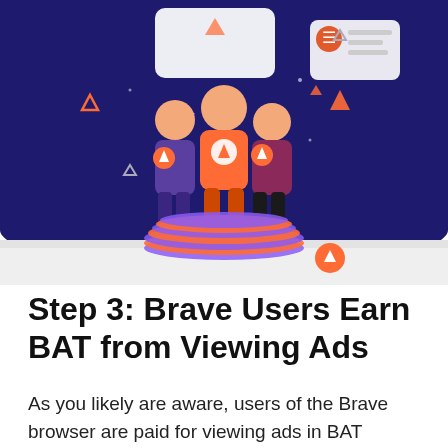[Figure (illustration): Illustration of three people standing on stacks of BAT tokens against a dark navy blue background with geometric shapes. The figures wear orange BAT token logos on their chests. The scene is cropped, showing the illustration above a light gray strip at the bottom.]
Step 3: Brave Users Earn BAT from Viewing Ads
As you likely are aware, users of the Brave browser are paid for viewing ads in BAT tokens, which is 70% of the amount the advertisers pay to the publisher.